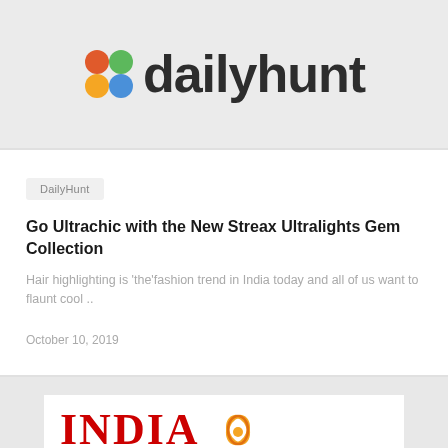[Figure (logo): Dailyhunt logo with colorful flower/leaf icon and bold 'dailyhunt' text]
DailyHunt
Go Ultrachic with the New Streax Ultralights Gem Collection
Hair highlighting is 'the'fashion trend in India today and all of us want to flaunt cool ..
October 10, 2019
[Figure (logo): India Today logo — partial view showing red INDIA text and orange decorative element]